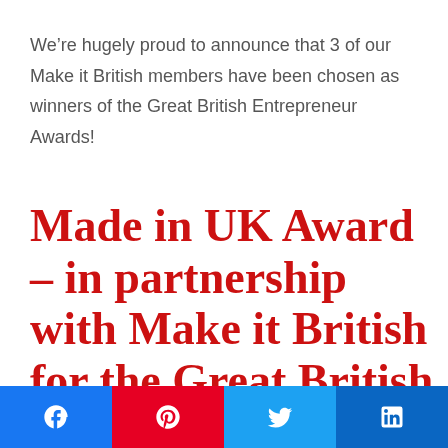We’re hugely proud to announce that 3 of our Make it British members have been chosen as winners of the Great British Entrepreneur Awards!
Made in UK Award – in partnership with Make it British for the Great British Entrepreneur Awards
[Figure (infographic): Social sharing buttons bar: Facebook (blue), Pinterest (red), Twitter (light blue), LinkedIn (dark blue)]